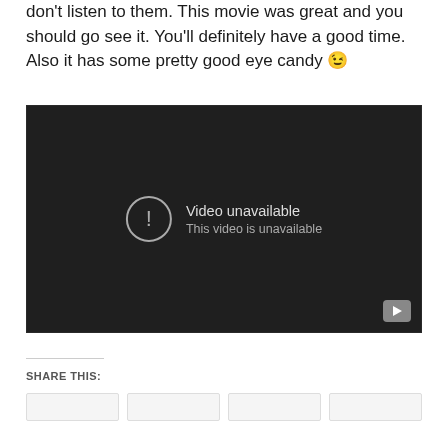don't listen to them. This movie was great and you should go see it. You'll definitely have a good time. Also it has some pretty good eye candy 😉
[Figure (screenshot): Embedded video player showing 'Video unavailable. This video is unavailable.' message on a dark background with a play button in the bottom right corner.]
SHARE THIS: